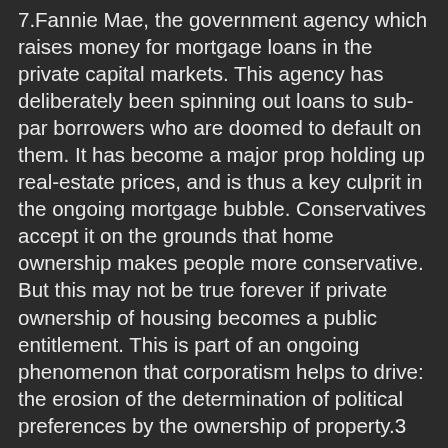7.Fannie Mae, the government agency which raises money for mortgage loans in the private capital markets. This agency has deliberately been spinning out loans to sub-par borrowers who are doomed to default on them. It has become a major prop holding up real-estate prices, and is thus a key culprit in the ongoing mortgage bubble. Conservatives accept it on the grounds that home ownership makes people more conservative. But this may not be true forever if private ownership of housing becomes a public entitlement. This is part of an ongoing phenomenon that corporatism helps to drive: the erosion of the determination of political preferences by the ownership of property.3
8.Sallie Mae, the government agency which supervises student loans. The government has a system of directly-financed public universities, but is has also in effect annexed private universities. Cleverly, it uses a relatively small amount of public money to package the flow of a much larger amount of private capital to tuition. The principal problem with this is that it has become a subsidy machine for the spiraling cost of higher education. There is also the problem that any institution receiving federal funds becomes